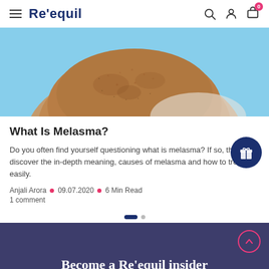Re'equil
[Figure (photo): Close-up photo of a person's lower face/chin area showing skin with melasma pigmentation against a light blue background]
What Is Melasma?
Do you often find yourself questioning what is melasma? If so, then discover the in-depth meaning, causes of melasma and how to treat it easily.
Anjali Arora • 09.07.2020 • 6 Min Read
1 comment
Become a Re'equil insider
Get access to research, guides